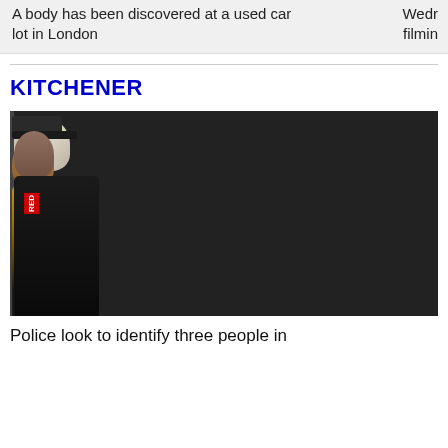A body has been discovered at a used car lot in London
Wedr filmin
KITCHENER
[Figure (photo): Three surveillance photos side by side showing three male individuals. Left: man wearing patterned head covering and brown jacket. Center: man wearing dark baseball cap and yellow shirt. Right: man in dark clothing with red badge/label visible.]
Police look to identify three people in